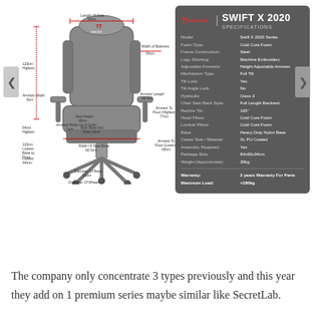[Figure (engineering-diagram): TTRacing Swift X 2020 gaming chair engineering/specification diagram showing dimensions: Length of Seat 54cm, Width of Backrest 54cm, Armrest Width 8cm, Seat Depth 48cm, Armrest Length 28.5cm, Seat Base including slide 13cm, Armrest Made Up & Down 5cm, Width of Seat Base 60.5cm, Armrest To Floor (Highest) 77cm, Armrest To Floor (Lowest) 65cm, Diameter of Base 63cm, Diameter of Wheels 6cm, 123cm Highest, 54cm Highest, 123cm Lowest, Base to Floor, Lowest 44mm. Red measurement lines overlay a grey/black gaming chair photo.]
| Specification | Value |
| --- | --- |
| Model: | Swift X 2020 Series |
| Foam Type: | Cold Cure Foam |
| Frame Construction: | Steel |
| Logo Stitching: | Machine Embroidery |
| Adjustable Armrests: | Height Adjustable Armrest |
| Mechanism Type: | Full Tilt |
| Tilt Lock: | Yes |
| Tilt Angle Lock: | No |
| Hydraulic: | Class 3 |
| Chair Seat Back Style: | Full Length Backrest |
| Recline Tilt: | 165° |
| Head Pillow: | Cold Cure Foam |
| Lumbar Pillow: | Cold Cure Foam |
| Base: | Heavy Duty Nylon Base |
| Caster Size / Material: | XL PU Coated |
| Assembly Required: | Yes |
| Package Size: | 84x65x34cm |
| Weight (Approximate): | 30kg |
| Warranty: | 2 years Warranty For Parts |
| Maximum Load: | <180kg |
The company only concentrate 3 types previously and this year they add on 1 premium series maybe similar like SecretLab.